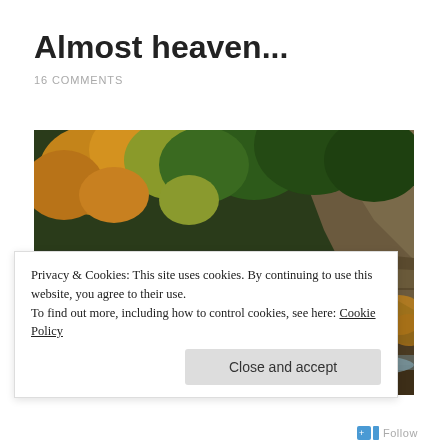Almost heaven...
16 COMMENTS
[Figure (photo): Waterfall scene in autumn with golden and green foliage surrounding multiple cascading waterfalls over rocky terrain, long exposure photography style with silky white water.]
Privacy & Cookies: This site uses cookies. By continuing to use this website, you agree to their use.
To find out more, including how to control cookies, see here: Cookie Policy
Close and accept
Follow